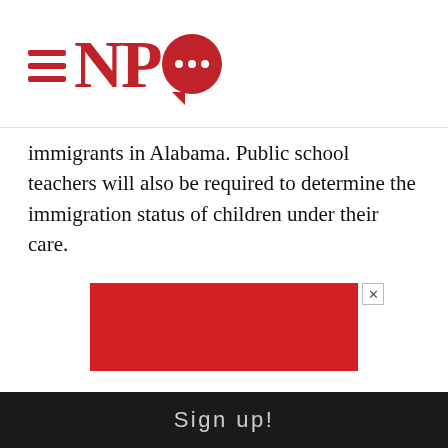NPQ logo
immigrants in Alabama. Public school teachers will also be required to determine the immigration status of children under their care.
[Figure (other): Red advertisement banner with close (X) button in top right corner]
The Hispanic Interest Coalition of Alabama (HICA) has been inundated by requests for legal assistance from both authorized and unauthorized immigrants, including parents who are considering returning to their native countries and leaving native-born children in the U.S. Caitlin Sandley, HICA's lead organizer, told Reuters, "Regardless of immigrant status, they are
Sign up!